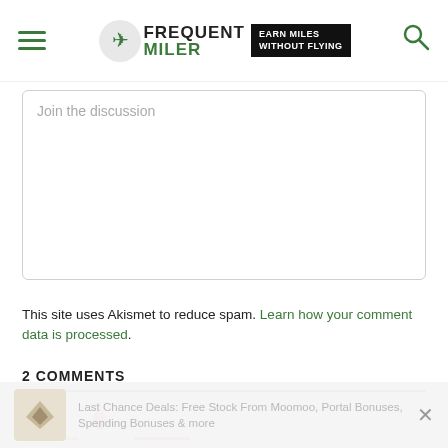Frequent Miler — Earn Miles Without Flying
Join the discussion
This site uses Akismet to reduce spam. Learn how your comment data is processed.
2 COMMENTS
[Figure (screenshot): Comment section tab icons: lightning bolt (orange) and flame (red) with colored underlines]
Last Chance Deals: Free Stock From Moomoo, Portal Bonuses, Spending Bonuses & more